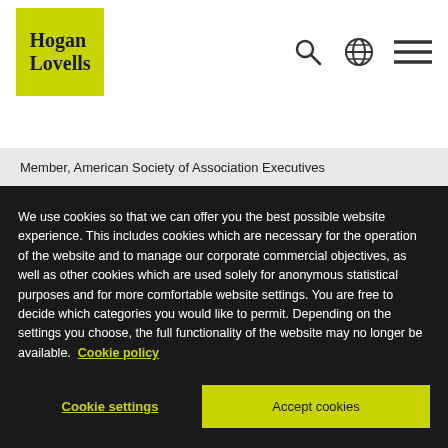[Figure (logo): Hogan Lovells logo with yellow/green square background and serif text]
Member, American Society of Association Executives
We use cookies so that we can offer you the best possible website experience. This includes cookies which are necessary for the operation of the website and to manage our corporate commercial objectives, as well as other cookies which are used solely for anonymous statistical purposes and for more comfortable website settings. You are free to decide which categories you would like to permit. Depending on the settings you choose, the full functionality of the website may no longer be available. Cookie policy
Cookie settings
Accept cookies